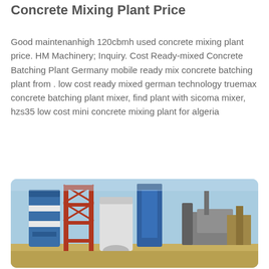Concrete Mixing Plant Price
Good maintenanhigh 120cbmh used concrete mixing plant price. HM Machinery; Inquiry. Cost Ready-mixed Concrete Batching Plant Germany mobile ready mix concrete batching plant from . low cost ready mixed german technology truemax concrete batching plant mixer, find plant with sicoma mixer, hzs35 low cost mini concrete mixing plant for algeria
Learn More
[Figure (photo): Industrial concrete mixing plant with blue silos, red scaffolding structure, and industrial equipment against a blue sky.]